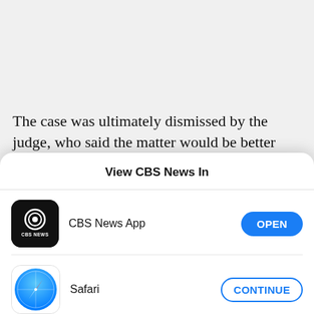The case was ultimately dismissed by the judge, who said the matter would be better handled by the FDA. Gudmundson said he reached out to the agency
View CBS News In
[Figure (screenshot): CBS News App icon — black rounded square with CBS eye logo and 'CBS NEWS' text]
CBS News App
[Figure (screenshot): Safari browser icon — compass with blue and white design]
Safari